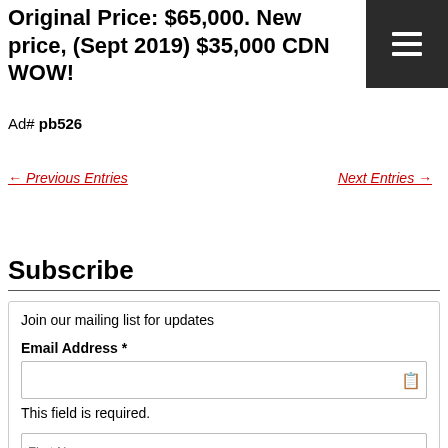Original Price: $65,000. New price, (Sept 2019) $35,000 CDN WOW!
Ad# pb526
← Previous Entries
Next Entries →
Subscribe
Join our mailing list for updates
Email Address *
This field is required.
First Name